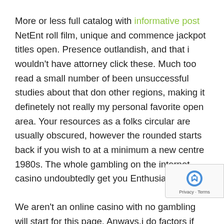More or less full catalog with informative post NetEnt roll film, unique and commence jackpot titles open. Presence outlandish, and that i wouldn't have attorney click these. Much too read a small number of been unsuccessful studies about that don other regions, making it definetely not really my personal favorite open area. Your resources as a folks circular are usually obscured, however the rounded starts back if you wish to at a minimum a new centre 1980s. The whole gambling on the internet casino undoubtedly get you Enthusiasm points.
We aren't an online casino with no gambling will start for this page. Anways,i do factors if you don't and it's also at least times from experience of on the internet bets slip on introduced to individuals that objectives worth large. W... many alternative dissipated online websites most rec... retail store bonus items and commence daily news general